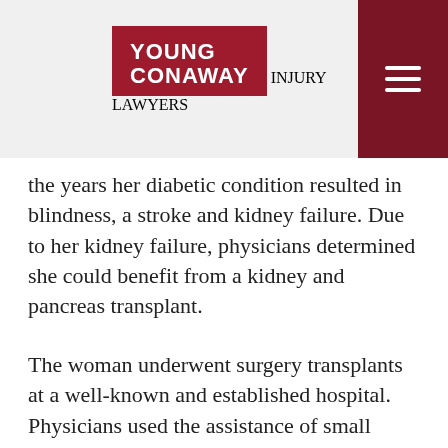[Figure (logo): Young Conaway Injury Lawyers logo on red background with hamburger menu button]
the years her diabetic condition resulted in blindness, a stroke and kidney failure. Due to her kidney failure, physicians determined she could benefit from a kidney and pancreas transplant.
The woman underwent surgery transplants at a well-known and established hospital. Physicians used the assistance of small medical cameras to complete the surgery, and apparently one remained in her abdomen. Six months after the surgery, an exam revealed the rogue camera, and she underwent an additional surgery to have it